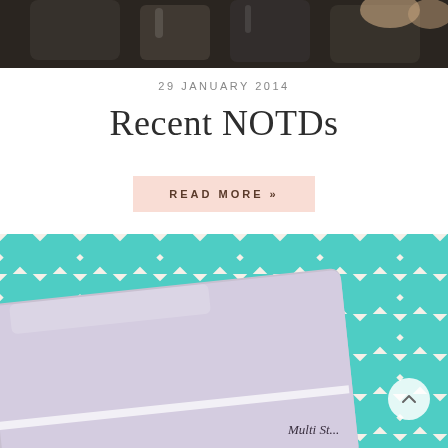[Figure (photo): Close-up photo of nail polish bottles from above, dark background, top portion of page]
29 JANUARY 2014
Recent NOTDs
READ MORE »
[Figure (photo): Photo of a pale lavender/lilac rectangular makeup or cosmetics compact product lying on a teal and white chevron patterned background. Text 'Multi St...' visible in bottom right corner.]